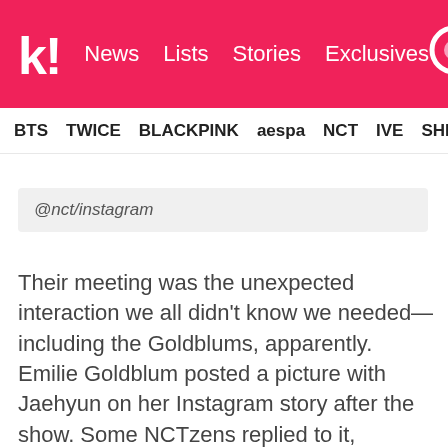k! News Lists Stories Exclusives
BTS TWICE BLACKPINK aespa NCT IVE SHIN
@nct/instagram
Their meeting was the unexpected interaction we all didn't know we needed—including the Goldblums, apparently. Emilie Goldblum posted a picture with Jaehyun on her Instagram story after the show. Some NCTzens replied to it, expressing their hope that she'd had a good time with Jaehyun.
Emilie Goldblum warmly replied to some of the messages, excitedly confessing that Jaehyun was in fact "a wonderful soul" and that he'd had a lovely conversation with her and Jeff about